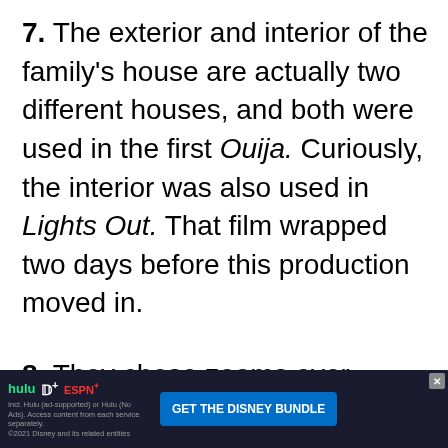7. The exterior and interior of the family's house are actually two different houses, and both were used in the first Ouija. Curiously, the interior was also used in Lights Out. That film wrapped two days before this production moved in.
8. They chose zooms over (camera) dolly moves whenever possible "just because it was a techni... the '60s...
[Figure (other): Advertisement banner for Disney Bundle (Hulu, Disney+, ESPN+) with 'GET THE DISNEY BUNDLE' call-to-action button and small print about ad-supported/no-ads access, with a funnel/filter icon overlapping the text above the ad.]